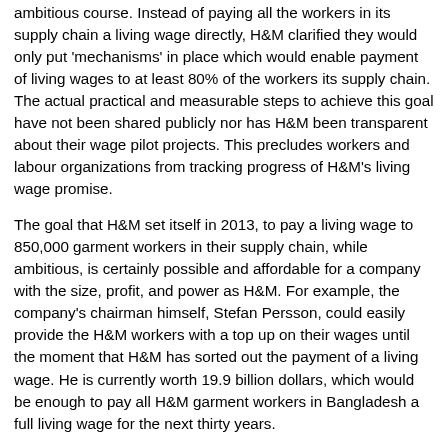ambitious course. Instead of paying all the workers in its supply chain a living wage directly, H&M clarified they would only put 'mechanisms' in place which would enable payment of living wages to at least 80% of the workers its supply chain. The actual practical and measurable steps to achieve this goal have not been shared publicly nor has H&M been transparent about their wage pilot projects. This precludes workers and labour organizations from tracking progress of H&M's living wage promise.
The goal that H&M set itself in 2013, to pay a living wage to 850,000 garment workers in their supply chain, while ambitious, is certainly possible and affordable for a company with the size, profit, and power as H&M. For example, the company's chairman himself, Stefan Persson, could easily provide the H&M workers with a top up on their wages until the moment that H&M has sorted out the payment of a living wage. He is currently worth 19.9 billion dollars, which would be enough to pay all H&M garment workers in Bangladesh a full living wage for the next thirty years.
Ineke Zeldenrust states: "H&M certainly has the financial means to 'walk the talk', and has stated time and again they want to be a leader on these issues. We have looked at the numbers and if H&M were to reallocate just one year of its annual advertising budget towards